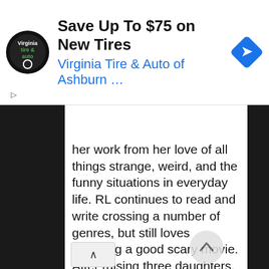[Figure (screenshot): Advertisement banner: Virginia Tire & Auto of Ashburn logo (circular black badge), headline 'Save Up To $75 on New Tires', subtext 'Virginia Tire & Auto of Ashburn …' in blue, blue diamond navigation arrow icon on the right]
her work from her love of all things strange, weird, and the funny situations in everyday life. RL continues to read and write crossing a number of genres, but still loves watching a good scary movie. After raising three daughters, RL lives in rural Victoria with her husband and furry son, chocolate labrador, Max. She is currently editing her first novel, which she deems 'soft' science fiction; A Lunatics Guide to Interplanetary Relationships, and hopes to traditionally publish. Social Media links: Amazon Author Page http://www.amazon.com/-/e/B00R0OY14A Facebook Page: https://www.facebook.com/robyn.andrew.9 Blog: rlandrewauthor.wordpress.com